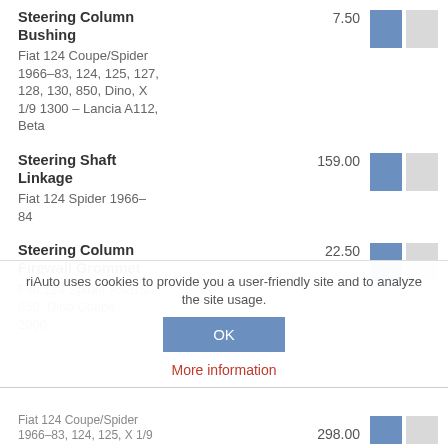Steering Column Bushing — Fiat 124 Coupe/Spider 1966–83, 124, 125, 127, 128, 130, 850, Dino, X 1/9 1300 – Lancia A112, Beta — 7.50
Steering Shaft Linkage — Fiat 124 Spider 1966–84 — 159.00
Steering Column Firewall Grommet — Fiat 124 Spider AS/BS, 850, Dino Coupe 2000 — 22.50
riAuto uses cookies to provide you a user-friendly site and to analyze the site usage.
OK
More information
Fiat 124 Coupe/Spider ... — 298.00